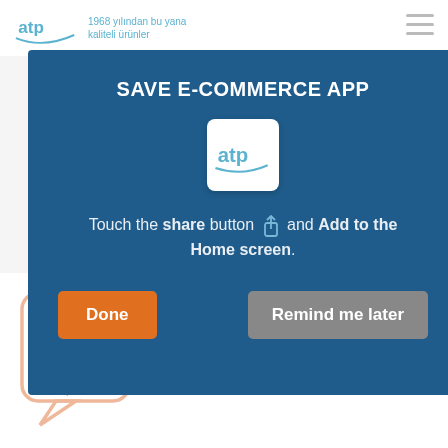[Figure (screenshot): Website header with ATP logo and tagline '1968 yılından bu yana kaliteli ürünler' and hamburger menu icon]
[Figure (screenshot): Background e-commerce website content partially visible behind modal overlay]
SAVE E-COMMERCE APP
[Figure (logo): ATP app icon - white rounded square with blue ATP logo]
Touch the share button and Add to the Home screen.
Done
Remind me later
[Figure (illustration): ATP Blog icon - orange speech bubble with 'Blog' text and 'atp' label]
Visit our Blog! Everything about curtains and handles.